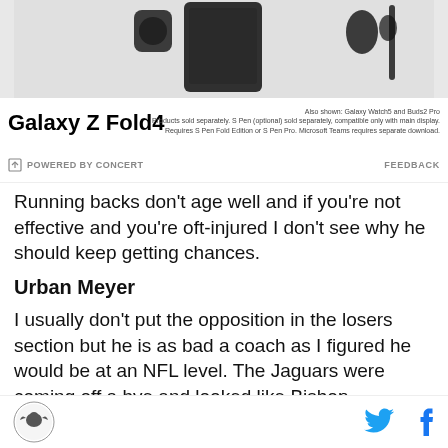[Figure (photo): Samsung Galaxy Z Fold4 advertisement banner showing the phone and accessories]
POWERED BY CONCERT   FEEDBACK
Running backs don't age well and if you're not effective and you're oft-injured I don't see why he should keep getting chances.
Urban Meyer
I usually don't put the opposition in the losers section but he is as bad a coach as I figured he would be at an NFL level. The Jaguars were coming off a bye and looked like Bishop Sycamore High School. Not sure he lasts the season and he shouldn't see a second
Site logo, Twitter icon, Facebook icon